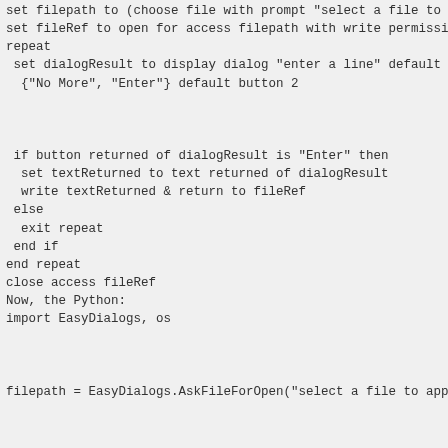set filepath to (choose file with prompt "select a file to ..."
set fileRef to open for access filepath with write permissi...
repeat
  set dialogResult to display dialog "enter a line" default...
    {"No More", "Enter"} default button 2


  if button returned of dialogResult is "Enter" then
    set textReturned to text returned of dialogResult
    write textReturned & return to fileRef
  else
    exit repeat
  end if
end repeat
close access fileRef
Now, the Python:
import EasyDialogs, os


filepath = EasyDialogs.AskFileForOpen("select a file to app...


if filepath:
  fileRef = open(filepath, 'w')
  while True:
    textReturned = EasyDialogs.AskString(